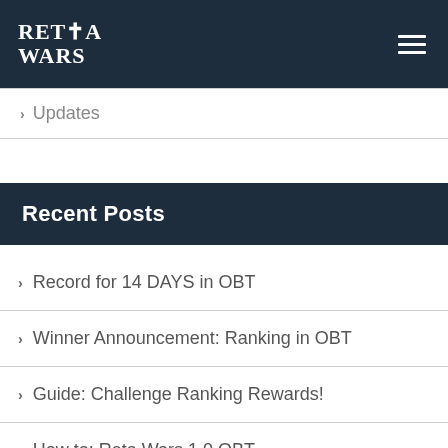[Figure (logo): Reta Wars logo — stylized text with a cross/sword icon, white on dark navy background]
> Updates
Recent Posts
> Record for 14 DAYS in OBT
> Winner Announcement: Ranking in OBT
> Guide: Challenge Ranking Rewards!
> How to: Reta Wars 1.0 OBT